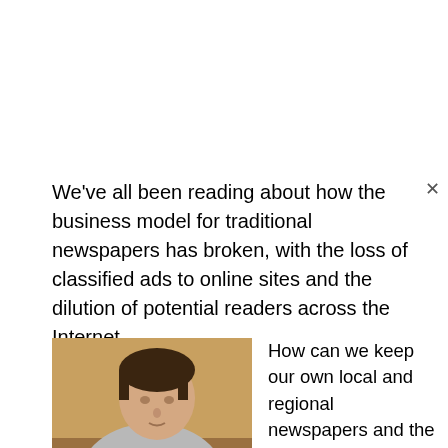We've all been reading about how the business model for traditional newspapers has broken, with the loss of classified ads to online sites and the dilution of potential readers across the Internet.
[Figure (photo): A young man looking down at a baby, both seated, in a warmly lit home setting.]
How can we keep our own local and regional newspapers and the human-written, neighbor-focused professional journalism they represent?  By supporting them.
Only the Scope provides